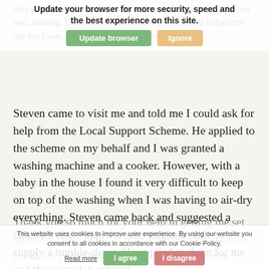able to live in the house. I had nothing, no fridge, no cooker, no bed, nothing. Lots of my friends came together and helped me out but I was still missing things for my kitchen.
[Figure (screenshot): Browser update notification banner with 'Update your browser for more security, speed and the best experience on this site.' text and 'Update browser' (green) and 'Ignore' (orange) buttons]
Steven came to visit me and told me I could ask for help from the Local Support Scheme. He applied to the scheme on my behalf and I was granted a washing machine and a cooker. However, with a baby in the house I found it very difficult to keep on top of the washing when I was having to air-dry everything. Steven came back and suggested a charity I could apply to who might be able to supply a tumble-dryer. He applied to them for me and this was also granted.
[Figure (screenshot): Cookie consent banner with text 'This website uses cookies to improve user experience. By using our website you consent to all cookies in accordance with our Cookie Policy.' and 'Read more', 'I agree' (green), 'I disagree' (red) buttons]
Thank you so much for your help in getting me set up in my new home. I'd urge anyone in my position to ask for help because there is plenty out there."